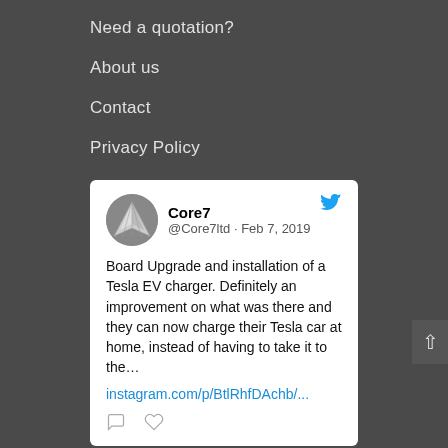Need a quotation?
About us
Contact
Privacy Policy
Core7 @Core7ltd · Feb 7, 2019
Board Upgrade and installation of a Tesla EV charger. Definitely an improvement on what was there and they can now charge their Tesla car at home, instead of having to take it to the…
instagram.com/p/BtlRhfDAchb/...
Core7